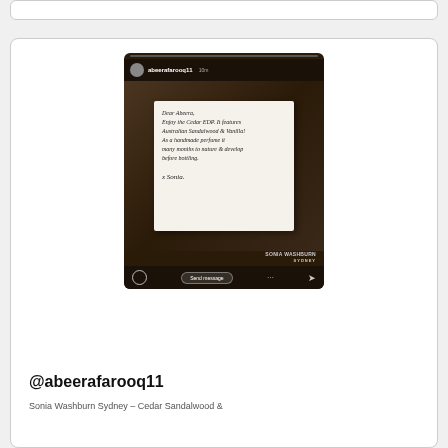[Figure (screenshot): Instagram story screenshot showing @abeerafarooq11 holding a handwritten note from Sonia over a Sonia Washburn Sydney box. The note reads: Dear Abeera, Enjoy the Cedar EDP. It features Australian Sandalwood & Vanilla! As a handmade perfume it many months to nature & develop before bottling. x Sonia.]
@abeerafarooq11
Sonia Washburn Sydney – Cedar Sandalwood &